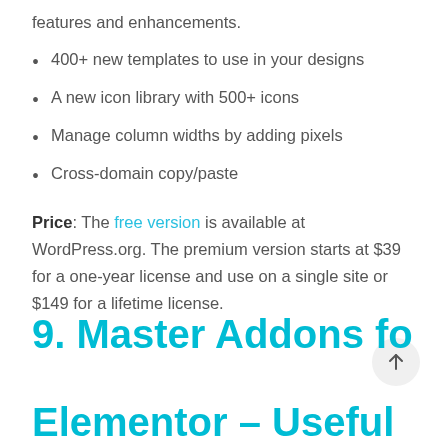features and enhancements.
400+ new templates to use in your designs
A new icon library with 500+ icons
Manage column widths by adding pixels
Cross-domain copy/paste
Price: The free version is available at WordPress.org. The premium version starts at $39 for a one-year license and use on a single site or $149 for a lifetime license.
9. Master Addons for Elementor – Useful